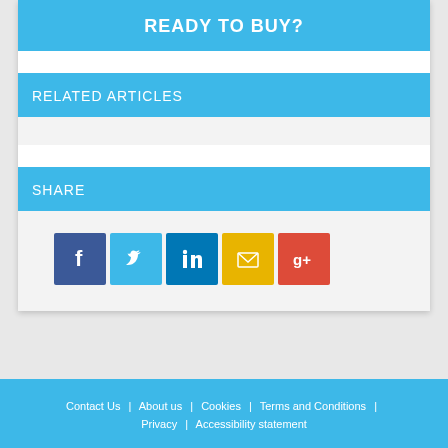READY TO BUY?
RELATED ARTICLES
SHARE
[Figure (infographic): Row of five social media share icons: Facebook (blue), Twitter (light blue), LinkedIn (dark blue), Email (yellow/gold), Google+ (red)]
Contact Us | About us | Cookies | Terms and Conditions | Privacy | Accessibility statement